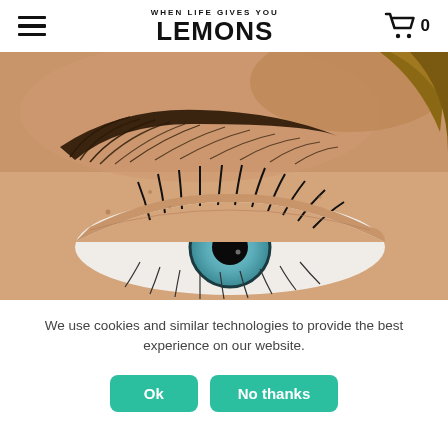WHEN LIFE GIVES YOU LEMONS
[Figure (photo): Extreme close-up of a woman's eye with blue/green iris, prominent eyebrow, and long eyelashes. Fair skin with freckles visible. Used as hero image on a beauty/cosmetics website.]
We use cookies and similar technologies to provide the best experience on our website.
Ok
No thanks